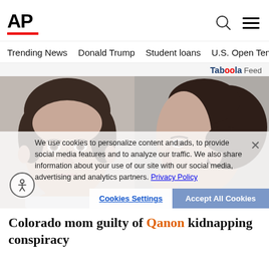AP
Trending News   Donald Trump   Student loans   U.S. Open Tenn
Taboola Feed
[Figure (photo): Mugshot of a woman shown from front (left) and side profile (right). Dark hair pulled back, gray background. Cookie consent banner overlaid at bottom with text: We use cookies to personalize content and ads, to provide social media features and to analyze our traffic. We also share information about your use of our site with our social media, advertising and analytics partners. Privacy Policy]
Colorado mom guilty of Qanon kidnapping conspiracy